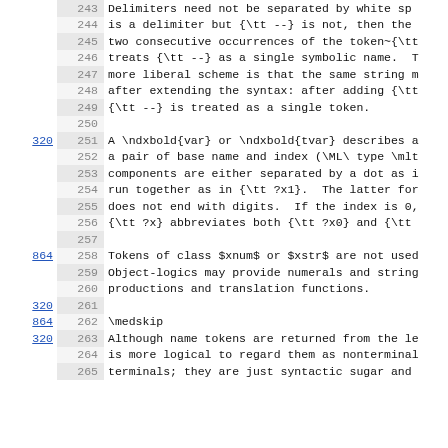Line-numbered source code/text view with reference links. Lines 243-265 of a technical document about delimiters, tokens, syntax, and name tokens in a formal language specification.